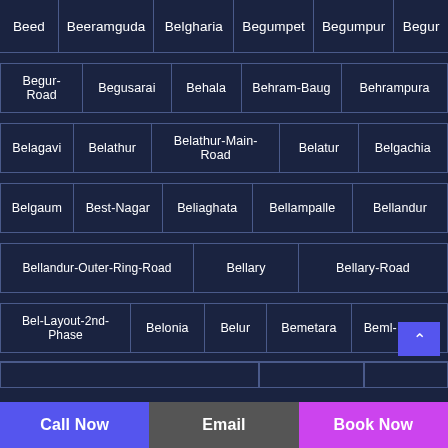Beed
Beeramguda
Belgharia
Begumpet
Begumpur
Begur
Begur-Road
Begusarai
Behala
Behram-Baug
Behrampura
Belagavi
Belathur
Belathur-Main-Road
Belatur
Belgachia
Belgaum
Best-Nagar
Beliaghata
Bellampalle
Bellandur
Bellandur-Outer-Ring-Road
Bellary
Bellary-Road
Bel-Layout-2nd-Phase
Belonia
Belur
Bemetara
Beml-Layout
Call Now
Email
Book Now